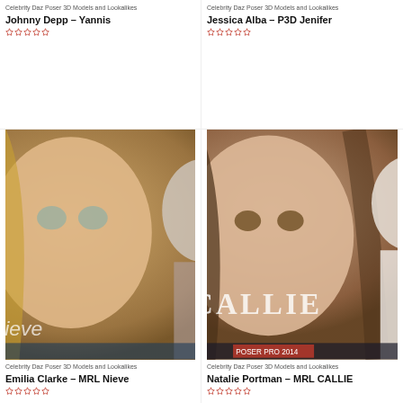Celebrity Daz Poser 3D Models and Lookalikes
Johnny Depp – Yannis
Celebrity Daz Poser 3D Models and Lookalikes
Jessica Alba – P3D Jenifer
[Figure (photo): 3D rendered female character Nieve – Emilia Clarke lookalike, blonde hair, fantasy outfit]
Celebrity Daz Poser 3D Models and Lookalikes
Emilia Clarke – MRL Nieve
[Figure (photo): 3D rendered female character CALLIE – Natalie Portman lookalike, brown hair, white outfit]
Celebrity Daz Poser 3D Models and Lookalikes
Natalie Portman – MRL CALLIE